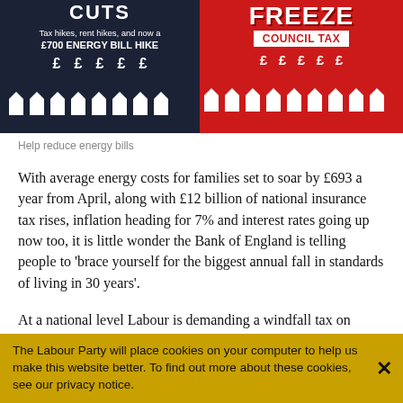[Figure (illustration): Split banner: left dark navy side with text 'Tax hikes, rent hikes, and now a £700 ENERGY BILL HIKE' with pound signs and house icons; right red side with 'FREEZE COUNCIL TAX' text with icicles, pound signs and house icons]
Help reduce energy bills
With average energy costs for families set to soar by £693 a year from April, along with £12 billion of national insurance tax rises, inflation heading for 7% and interest rates going up now too, it is little wonder the Bank of England is telling people to 'brace yourself for the biggest annual fall in standards of living in 30 years'.
At a national level Labour is demanding a windfall tax on
The Labour Party will place cookies on your computer to help us make this website better. To find out more about these cookies, see our privacy notice.